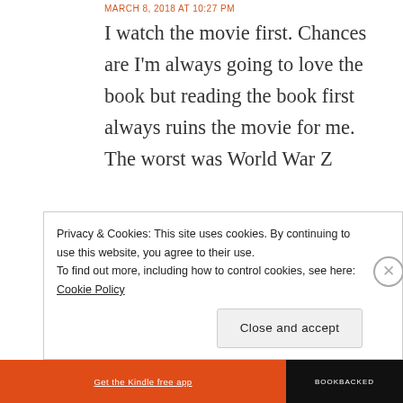MARCH 8, 2018 AT 10:27 PM
I watch the movie first. Chances are I'm always going to love the book but reading the book first always ruins the movie for me. The worst was World War Z
Privacy & Cookies: This site uses cookies. By continuing to use this website, you agree to their use.
To find out more, including how to control cookies, see here: Cookie Policy
Close and accept